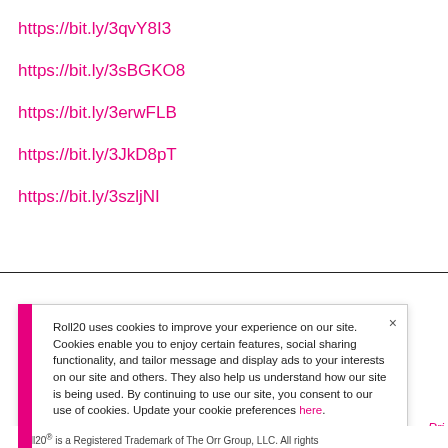https://bit.ly/3qvY8I3
https://bit.ly/3sBGKO8
https://bit.ly/3erwFLB
https://bit.ly/3JkD8pT
https://bit.ly/3szljNI
Roll20 uses cookies to improve your experience on our site. Cookies enable you to enjoy certain features, social sharing functionality, and tailor message and display ads to your interests on our site and others. They also help us understand how our site is being used. By continuing to use our site, you consent to our use of cookies. Update your cookie preferences here.
Roll20® is a Registered Trademark of The Orr Group, LLC. All rights